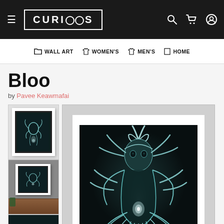CURIOOS — Wall Art, Women's, Men's, Home
Bloo
by Pavee Keawmafai
[Figure (photo): Thumbnail 1: framed artwork of glowing alien creature on white background]
[Figure (photo): Thumbnail 2: framed artwork of alien creature mounted on dark grey wall above wooden cabinet]
[Figure (photo): Thumbnail 3: close-up of alien creature artwork, teal/dark background]
[Figure (illustration): Main product image: large digital artwork of a symmetrical glowing alien/demon creature with multiple curved horns and tendrils on dark background, rendered in teal/white tones]